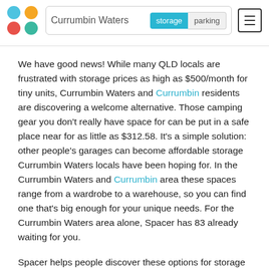[Figure (logo): Spacer app logo with four colored circles in a 2x2 grid: blue, orange, red, teal]
Currumbin Waters | storage | parking
We have good news! While many QLD locals are frustrated with storage prices as high as $500/month for tiny units, Currumbin Waters and Currumbin residents are discovering a welcome alternative. Those camping gear you don't really have space for can be put in a safe place near for as little as $312.58. It's a simple solution: other people's garages can become affordable storage Currumbin Waters locals have been hoping for. In the Currumbin Waters and Currumbin area these spaces range from a wardrobe to a warehouse, so you can find one that's big enough for your unique needs. For the Currumbin Waters area alone, Spacer has 83 already waiting for you.
Spacer helps people discover these options for storage by allowing hosts to advertise their empty rooms on our platform, free of charge. So, you can keep your winter clothing on the premises of some friendly Currumbin Waters host Spacer facilities